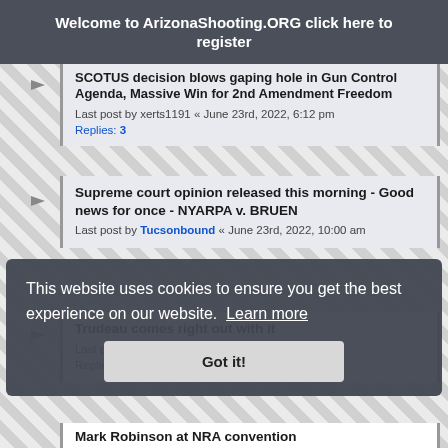Welcome to ArizonaShooting.ORG click here to register
SCOTUS decision blows gaping hole in Gun Control Agenda, Massive Win for 2nd Amendment Freedom
Last post by xerts1191 « June 23rd, 2022, 6:12 pm
Replies: 3
Supreme court opinion released this morning - Good news for once - NYARPA v. BRUEN
Last post by Tucsonbound « June 23rd, 2022, 10:00 am
Trudeau comes right out with it
Last post by xerts1191 « June 18th, 2022, 8:49 pm
Replies: 8
This website uses cookies to ensure you get the best experience on our website. Learn more
Got it!
Mark Robinson at NRA convention